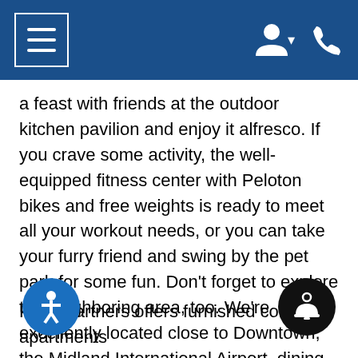Navigation bar with hamburger menu, user account icon, and phone icon
a feast with friends at the outdoor kitchen pavilion and enjoy it alfresco. If you crave some activity, the well-equipped fitness center with Peloton bikes and free weights is ready to meet all your workout needs, or you can take your furry friend and swing by the pet park for some fun. Don't forget to explore the neighboring area, too. We're excellently located close to Downtown, the Midland International Airport, dining and entertainment options.  Leading employers in our area include Chevron and Oxy. Contact us for more details about our apartment homes in Midland, TX, or to schedule a tour!
RAM Partners offers furnished corporate apartments